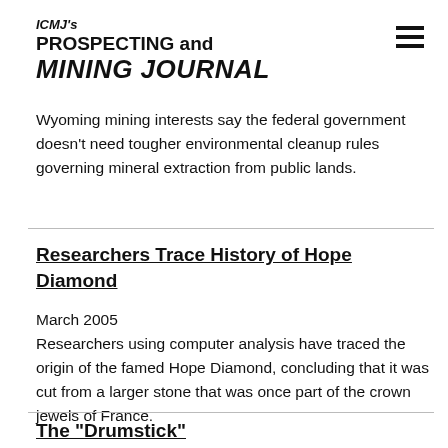ICMJ's PROSPECTING and MINING JOURNAL
Wyoming mining interests say the federal government doesn't need tougher environmental cleanup rules governing mineral extraction from public lands.
Researchers Trace History of Hope Diamond
March 2005
Researchers using computer analysis have traced the origin of the famed Hope Diamond, concluding that it was cut from a larger stone that was once part of the crown jewels of France.
The "Drumstick"